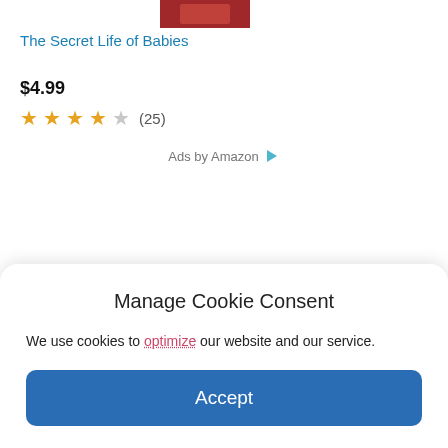[Figure (illustration): Partial book cover image with red background, cropped at top]
The Secret Life of Babies
$4.99
★★★★☆ (25)
Ads by Amazon ▷
Manage Cookie Consent
We use cookies to optimize our website and our service.
Accept